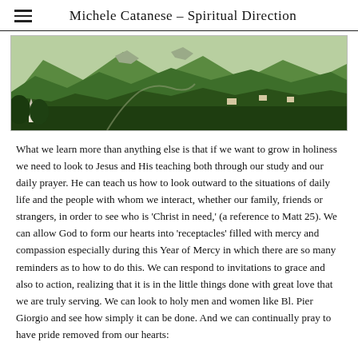Michele Catanese – Spiritual Direction
[Figure (photo): Aerial or elevated landscape photo showing forested mountains with a church steeple visible at lower left and scattered buildings in a valley, green alpine terrain.]
What we learn more than anything else is that if we want to grow in holiness we need to look to Jesus and His teaching both through our study and our daily prayer. He can teach us how to look outward to the situations of daily life and the people with whom we interact, whether our family, friends or strangers, in order to see who is 'Christ in need,' (a reference to Matt 25). We can allow God to form our hearts into 'receptacles' filled with mercy and compassion especially during this Year of Mercy in which there are so many reminders as to how to do this. We can respond to invitations to grace and also to action, realizing that it is in the little things done with great love that we are truly serving. We can look to holy men and women like Bl. Pier Giorgio and see how simply it can be done. And we can continually pray to have pride removed from our hearts: